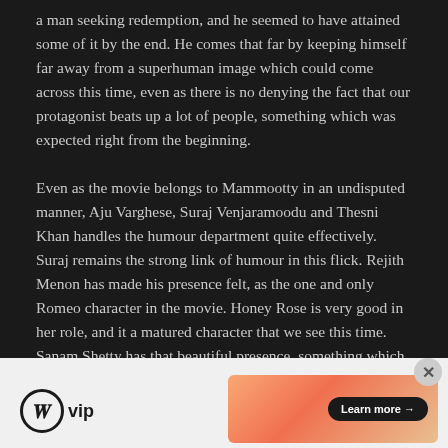a man seeking redemption, and he seemed to have attained some of it by the end. He comes that far by keeping himself far away from a superhuman image which could come across this time, even as there is no denying the fact that our protagonist beats up a lot of people, something which was expected right from the beginning.

Even as the movie belongs to Mammootty in an undisputed manner, Aju Varghese, Suraj Venjaramoodu and Thesni Khan handles the humour department quite effectively. Suraj remains the strong link of humour in this flick. Rejith Menon has made his presence felt, as the one and only Romeo character in the movie. Honey Rose is very good in her role, and it a matured character that we see this time. Sanam Shetty has that beautiful presence, something which she carries over from what we saw
Advertisements
[Figure (logo): WordPress VIP logo with circle W icon and 'vip' text]
[Figure (infographic): Advertisement banner with orange/peach gradient and 'Learn more' button]